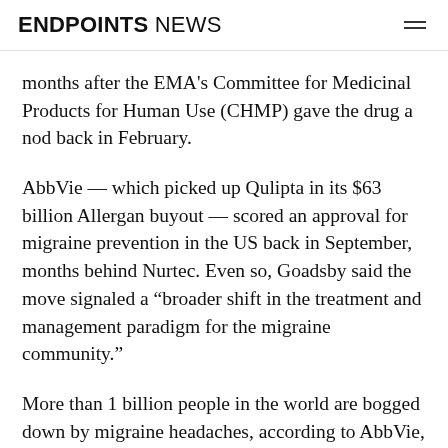ENDPOINTS NEWS
months after the EMA's Committee for Medicinal Products for Human Use (CHMP) gave the drug a nod back in February.
AbbVie — which picked up Qulipta in its $63 billion Allergan buyout — scored an approval for migraine prevention in the US back in September, months behind Nurtec. Even so, Goadsby said the move signaled a “broader shift in the treatment and management paradigm for the migraine community.”
More than 1 billion people in the world are bogged down by migraine headaches, according to AbbVie, including 39 million in the US alone.